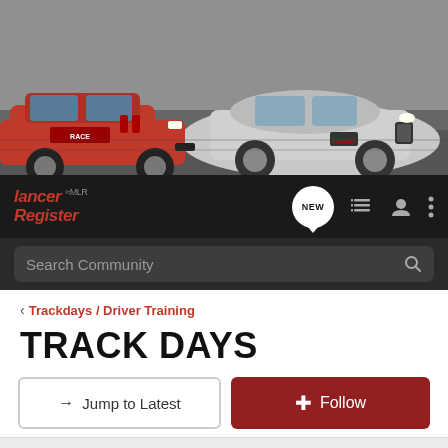[Figure (photo): Hero banner showing two racing cars on a track — a red Mitsubishi Lancer Evo race car and a silver Mitsubishi Lancer Evo road car facing each other]
[Figure (logo): Lancer Register (MLR) logo in red italic text on dark navbar with navigation icons including NEW chat bubble, list view, user icon, and more options dots]
Search Community
< Trackdays / Driver Training
TRACK DAYS
→ Jump to Latest
+ Follow
1 - 3 of 3 Posts
Guest ·